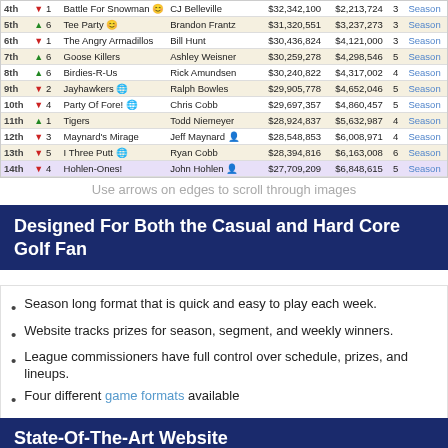[Figure (screenshot): Fantasy golf league standings table showing ranks 4th-14th with team names, managers, earnings, and season links]
Use arrows on edges to scroll through images
Designed For Both the Casual and Hard Core Golf Fan
Season long format that is quick and easy to play each week.
Website tracks prizes for season, segment, and weekly winners.
League commissioners have full control over schedule, prizes, and lineups.
Four different game formats available
State-Of-The-Art Website